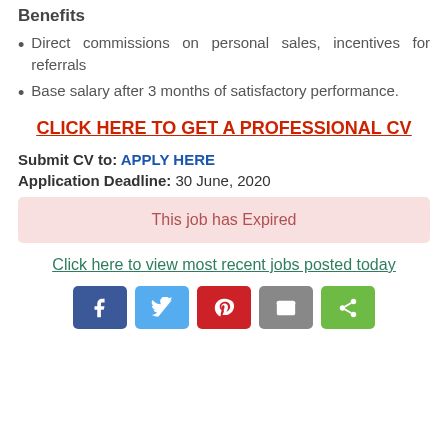Benefits
Direct commissions on personal sales, incentives for referrals
Base salary after 3 months of satisfactory performance.
CLICK HERE TO GET A PROFESSIONAL CV
Submit CV to: APPLY HERE
Application Deadline: 30 June, 2020
This job has Expired
Click here to view most recent jobs posted today